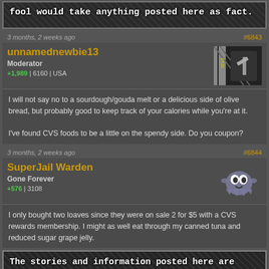[Figure (screenshot): Top banner with dark textured background showing partial text: 'fool would take anything posted here as fact.']
3 months, 2 weeks ago
#6843
unnamednewbie13
Moderator
+1,989 | 6160 | USA
[Figure (illustration): User avatar showing stylized game-like icon with striped design]
I will not say no to a sourdough/gouda melt or a delicious side of olive bread, but probably good to keep track of your calories while you're at it.

I've found CVS foods to be a little on the spendy side. Do you coupon?
3 months, 2 weeks ago
#6844
SuperJail Warden
Gone Forever
+576 | 3108
[Figure (illustration): User avatar showing a ghost-like Pokemon character (Haunter/Gengar) in dark purple]
I only bought two loaves since they were on sale 2 for $5 with a CVS rewards membership. I might as well eat through my canned tuna and reduced sugar grape jelly.
[Figure (screenshot): Bottom banner with dark textured background showing text: 'The stories and information posted here are artistic works of fiction and falsehood. Only a fool would take anything posted here as fact.']